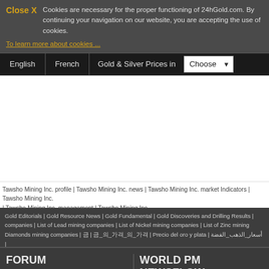Close X  Cookies are necessary for the proper functioning of 24hGold.com. By continuing your navigation on our website, you are accepting the use of cookies.
To learn more about cookies ...
English | French | Gold & Silver Prices in | Choose
Tawsho Mining Inc. profile | Tawsho Mining Inc. news | Tawsho Mining Inc. market Indicators | Tawsho Mining Inc. | Tawsho Mining Inc. management | Tawsho Mining Inc.
Gold Editorials | Gold Resource News | Gold Fundamental | Gold Discoveries and Drilling Results | companies | List of Lead mining companies | List of Nickel mining companies | List of Zinc mining | Diamonds mining companies | 금 | 금_의_가격_의_가격 | Precio del oro y plata | أسعار_الذهب_الفضة |
FORUM
Gold and silver
WORLD PM NEWSFLOW
All